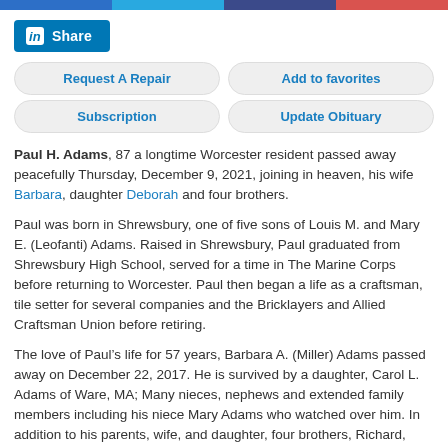[Figure (other): Top colored bar strip: four horizontal color bars (blue, light blue, navy, red)]
[Figure (other): LinkedIn Share button (blue rectangle with 'in' logo and 'Share' text)]
Request A Repair
Add to favorites
Subscription
Update Obituary
Paul H. Adams, 87 a longtime Worcester resident passed away peacefully Thursday, December 9, 2021, joining in heaven, his wife Barbara, daughter Deborah and four brothers.
Paul was born in Shrewsbury, one of five sons of Louis M. and Mary E. (Leofanti) Adams. Raised in Shrewsbury, Paul graduated from Shrewsbury High School, served for a time in The Marine Corps before returning to Worcester. Paul then began a life as a craftsman, tile setter for several companies and the Bricklayers and Allied Craftsman Union before retiring.
The love of Paul’s life for 57 years, Barbara A. (Miller) Adams passed away on December 22, 2017. He is survived by a daughter, Carol L. Adams of Ware, MA; Many nieces, nephews and extended family members including his niece Mary Adams who watched over him. In addition to his parents, wife, and daughter, four brothers, Richard, Ronald, Jon and Joseph Adams all predeceased